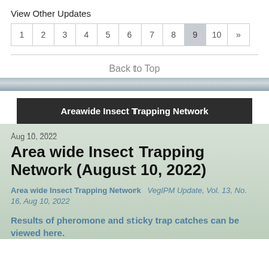View Other Updates
1 2 3 4 5 6 7 8 9 10 »
Back to Top
Areawide Insect Trapping Network
Aug 10, 2022
Area wide Insect Trapping Network (August 10, 2022)
Area wide Insect Trapping Network   VegIPM Update, Vol. 13, No. 16, Aug 10, 2022
Results of pheromone and sticky trap catches can be viewed here.